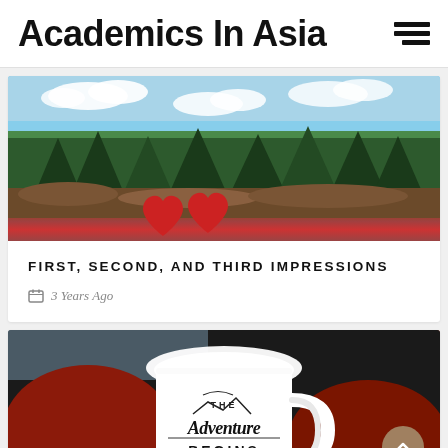Academics In Asia
[Figure (photo): Outdoor scene with trees, blue sky with clouds, and red heart-shaped object in foreground]
FIRST, SECOND, AND THIRD IMPRESSIONS
3 Years Ago
[Figure (photo): White enamel mug with 'The Adventure Begins' text held by red-gloved hands against snowy/dark background]